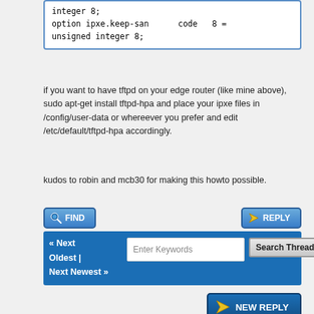integer 8;
option ipxe.keep-san      code   8 =
unsigned integer 8;
if you want to have tftpd on your edge router (like mine above), sudo apt-get install tftpd-hpa and place your ipxe files in /config/user-data or whereever you prefer and edit /etc/default/tftpd-hpa accordingly.
kudos to robin and mcb30 for making this howto possible.
FIND  |  REPLY
« Next Oldest | Next Newest »
Enter Keywords  Search Thread
NEW REPLY
View a Printable Version
Send this Thread to a Friend
Subscribe to this thread
User(s) browsing this thread: 1 Guest(s)